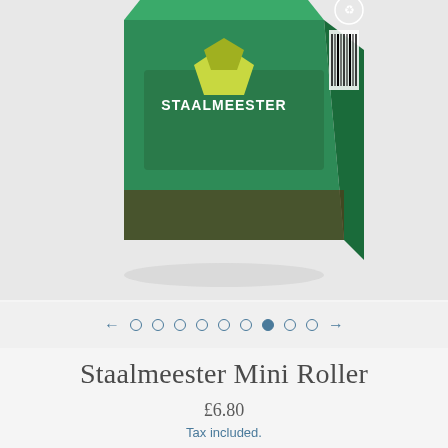[Figure (photo): Product photo of a green Staalmeester box/packaging for Mini Roller, partially visible from top, with green and brown design and barcode visible on right side]
[Figure (other): Image carousel navigation: left arrow, 9 dots (7 hollow, 1 filled at position 7, 1 hollow), right arrow]
Staalmeester Mini Roller
£6.80
Tax included.